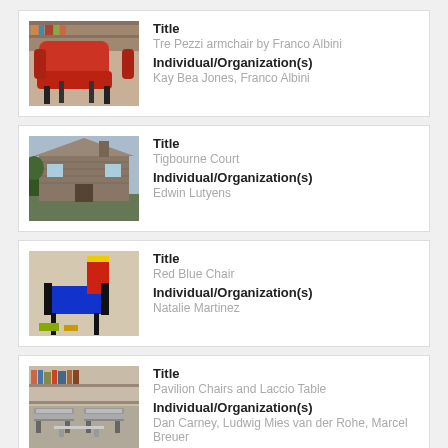[Figure (photo): Red armchair (Tre Pezzi armchair by Franco Albini)]
Title
Tre Pezzi armchair by Franco Albini
Individual/Organization(s)
Kay Bea Jones, Franco Albini
[Figure (photo): Exterior of Tigbourne Court building]
Title
Tigbourne Court
Individual/Organization(s)
Edwin Lutyens
[Figure (photo): Red Blue Chair by Rietveld]
Title
Red Blue Chair
Individual/Organization(s)
Natalie Martinez
[Figure (photo): Pavilion Chairs and Laccio Table in showroom setting]
Title
Pavilion Chairs and Laccio Table
Individual/Organization(s)
Dan Carney, Ludwig Mies van der Rohe, Marcel Breuer